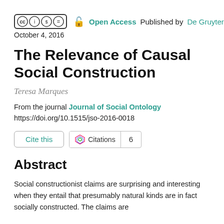[Figure (logo): Creative Commons BY-NC-ND license badge and Open Access icon, Published by De Gruyter]
October 4, 2016
The Relevance of Causal Social Construction
Teresa Marques
From the journal Journal of Social Ontology
https://doi.org/10.1515/jso-2016-0018
[Figure (other): Cite this button and Citations count badge showing 6]
Abstract
Social constructionist claims are surprising and interesting when they entail that presumably natural kinds are in fact socially constructed. The claims are